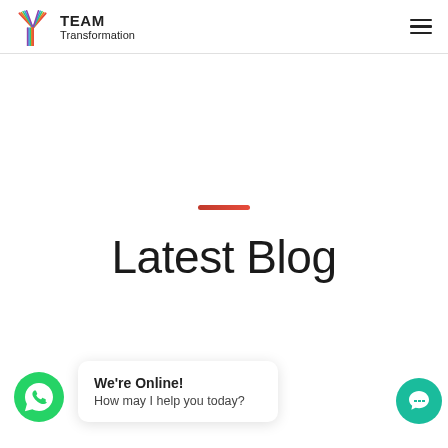TEAM Transformation
Latest Blog
We're Online! How may I help you today?